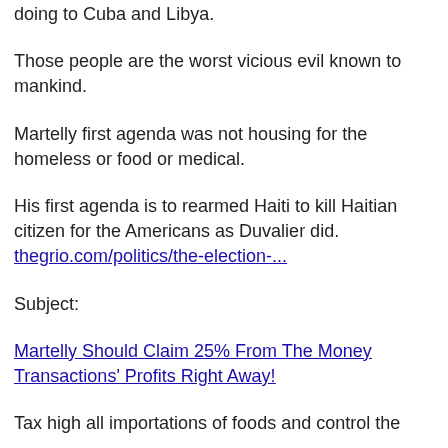doing to Cuba and Libya.
Those people are the worst vicious evil known to mankind.
Martelly first agenda was not housing for the homeless or food or medical.
His first agenda is to rearmed Haiti to kill Haitian citizen for the Americans as Duvalier did.
thegrio.com/politics/the-election-...
Subject:
Martelly Should Claim 25% From The Money Transactions' Profits Right Away!
Tax high all importations of foods and control the